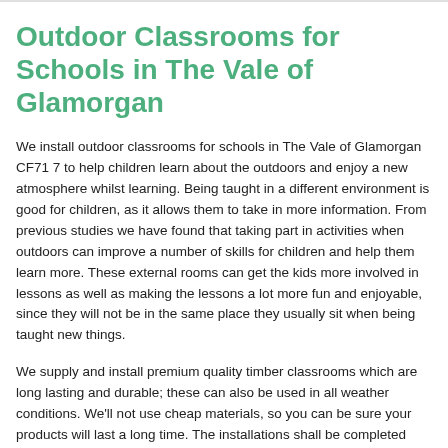Outdoor Classrooms for Schools in The Vale of Glamorgan
We install outdoor classrooms for schools in The Vale of Glamorgan CF71 7 to help children learn about the outdoors and enjoy a new atmosphere whilst learning. Being taught in a different environment is good for children, as it allows them to take in more information. From previous studies we have found that taking part in activities when outdoors can improve a number of skills for children and help them learn more. These external rooms can get the kids more involved in lessons as well as making the lessons a lot more fun and enjoyable, since they will not be in the same place they usually sit when being taught new things.
We supply and install premium quality timber classrooms which are long lasting and durable; these can also be used in all weather conditions. We'll not use cheap materials, so you can be sure your products will last a long time. The installations shall be completed